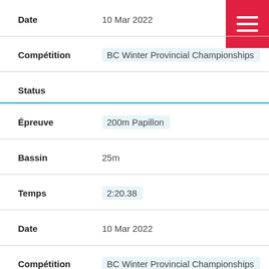Date: 10 Mar 2022
Compétition: BC Winter Provincial Championships
Status
Épreuve: 200m Papillon
Bassin: 25m
Temps: 2:20.38
Date: 10 Mar 2022
Compétition: BC Winter Provincial Championships
Status